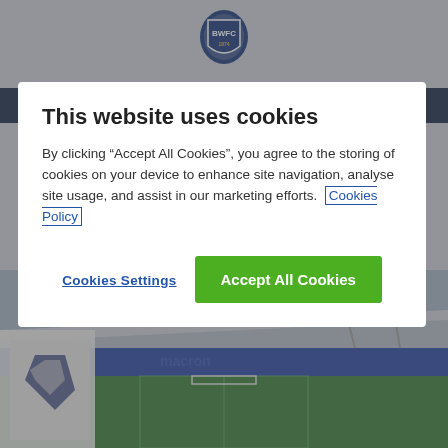[Figure (logo): Bolton Wanderers FC crest logo in blue and white]
[Figure (photo): Bolton Wanderers football stadium interior view with corner flag in foreground, stands visible in background]
This website uses cookies
By clicking “Accept All Cookies”, you agree to the storing of cookies on your device to enhance site navigation, analyse site usage, and assist in our marketing efforts. Cookies Policy
Cookies Settings
Accept All Cookies